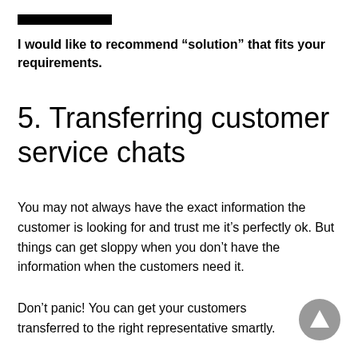[Figure (other): Black horizontal bar decorative element]
I would like to recommend “solution” that fits your requirements.
5. Transferring customer service chats
You may not always have the exact information the customer is looking for and trust me it’s perfectly ok. But things can get sloppy when you don’t have the information when the customers need it.
Don’t panic! You can get your customers transferred to the right representative smartly.
[Figure (other): Gray circular scroll-to-top button with upward triangle arrow]